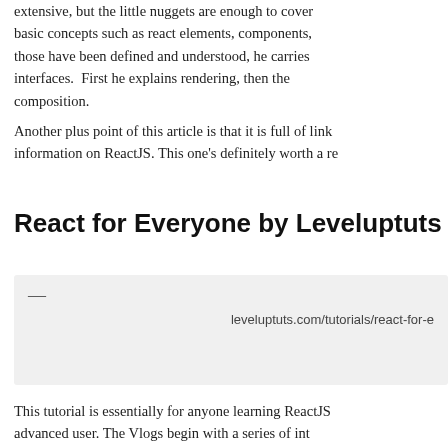extensive, but the little nuggets are enough to cover basic concepts such as react elements, components, those have been defined and understood, he carries interfaces. First he explains rendering, then the composition.
Another plus point of this article is that it is full of links information on ReactJS. This one's definitely worth a re
React for Everyone by Leveluptuts
[Figure (screenshot): Embedded link preview box with a dash separator and URL: leveluptuts.com/tutorials/react-for-e]
This tutorial is essentially for anyone learning ReactJS advanced user. The Vlogs begin with a series of int basics by getting started and understanding the library